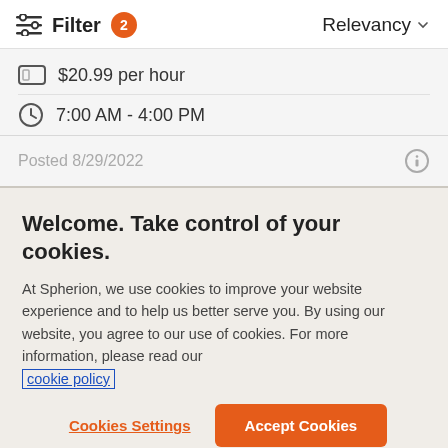Filter 2   Relevancy
$20.99 per hour
7:00 AM - 4:00 PM
Posted 8/29/2022
Welcome. Take control of your cookies.
At Spherion, we use cookies to improve your website experience and to help us better serve you. By using our website, you agree to our use of cookies. For more information, please read our cookie policy
Cookies Settings
Accept Cookies